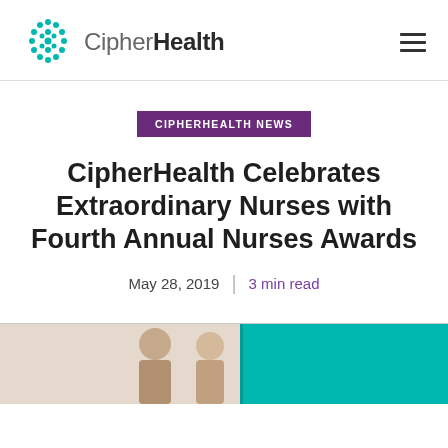CipherHealth
CIPHERHEALTH NEWS
CipherHealth Celebrates Extraordinary Nurses with Fourth Annual Nurses Awards
May 28, 2019  |  3 min read
[Figure (photo): Photo of people at a CipherHealth event with a teal background on the right side]